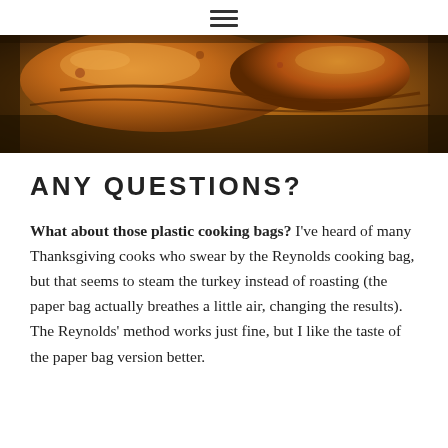≡
[Figure (photo): Close-up photo of a roasted turkey or chicken in a roasting pan, showing golden-brown skin with dark roasting pan visible.]
ANY QUESTIONS?
What about those plastic cooking bags? I've heard of many Thanksgiving cooks who swear by the Reynolds cooking bag, but that seems to steam the turkey instead of roasting (the paper bag actually breathes a little air, changing the results). The Reynolds' method works just fine, but I like the taste of the paper bag version better.